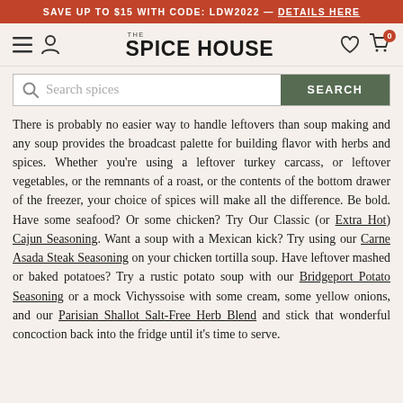SAVE UP TO $15 WITH CODE: LDW2022 — DETAILS HERE
[Figure (screenshot): The Spice House website navigation bar with hamburger menu, user icon, brand logo, heart icon, and cart icon with badge showing 0]
[Figure (screenshot): Search bar with magnifying glass icon, placeholder text 'Search spices', and a dark green SEARCH button]
There is probably no easier way to handle leftovers than soup making and any soup provides the broadcast palette for building flavor with herbs and spices. Whether you're using a leftover turkey carcass, or leftover vegetables, or the remnants of a roast, or the contents of the bottom drawer of the freezer, your choice of spices will make all the difference. Be bold. Have some seafood? Or some chicken? Try Our Classic (or Extra Hot) Cajun Seasoning. Want a soup with a Mexican kick? Try using our Carne Asada Steak Seasoning on your chicken tortilla soup. Have leftover mashed or baked potatoes? Try a rustic potato soup with our Bridgeport Potato Seasoning or a mock Vichyssoise with some cream, some yellow onions, and our Parisian Shallot Salt-Free Herb Blend and stick that wonderful concoction back into the fridge until it's time to serve.